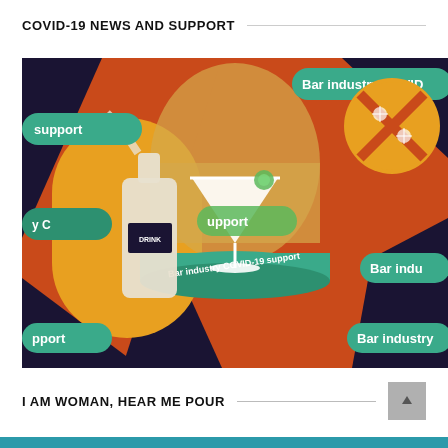COVID-19 NEWS AND SUPPORT
[Figure (illustration): Illustrated graphic showing bar industry COVID-19 support theme. Dark navy, red-orange, yellow/gold and teal-green color scheme. Center: a martini glass under a glass dome on a teal pedestal with text 'Bar industry COVID-19 support'. Left: a person pouring from a bottle labeled DRINK. Background: green pill-shaped buttons with text including 'Bar industry COVID', 'support', 'upport', 'Bar indu', 'Bar industry'. Top right: yellow circle with red X and virus icons. Various repeating 'Bar industry COVID-19 support' labels.]
I AM WOMAN, HEAR ME POUR